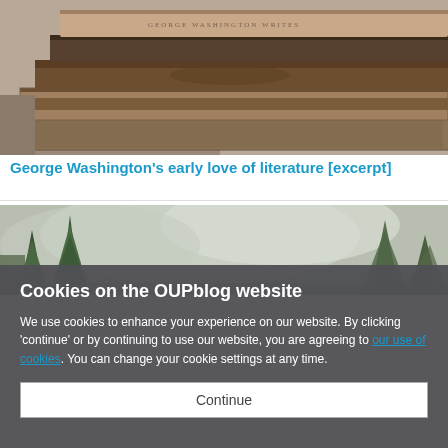[Figure (photo): Stack of old vintage hardcover books photographed from the side, warm brown tones, on a table with neutral background.]
George Washington's early love of literature [excerpt]
[Figure (photo): Landscape painting or photo showing large evergreen and deciduous trees against a cloudy sky, muted green and grey tones.]
Cookies on the OUPblog website
We use cookies to enhance your experience on our website. By clicking 'continue' or by continuing to use our website, you are agreeing to our use of cookies. You can change your cookie settings at any time.
Continue